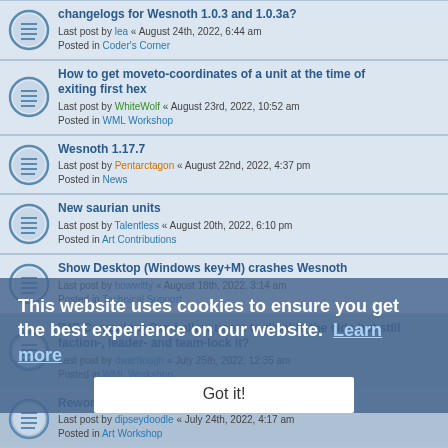changelogs for Wesnoth 1.0.3 and 1.0.3a? — Last post by lea « August 24th, 2022, 6:44 am — Posted in Coder's Corner
How to get moveto-coordinates of a unit at the time of exiting first hex — Last post by WhiteWolf « August 23rd, 2022, 10:52 am — Posted in WML Workshop
Wesnoth 1.17.7 — Last post by Pentarctagon « August 22nd, 2022, 4:37 pm — Posted in News
New saurian units — Last post by Talentless « August 20th, 2022, 6:10 pm — Posted in Art Contributions
Show Desktop (Windows key+M) crashes Wesnoth — Last post by howwitty « August 18th, 2022, 3:14 am — Posted in Technical Support
[MP Campaign] Can I allow users to disable the side but still faction-, leader- and team-lock it? — Last post by dwarftough « July 25th, 2022, 12:35 am — Posted in WML Workshop
Rework of Old Projects - Orcs/Man-Orcs — Last post by dipseydoodle « July 24th, 2022, 4:17 am — Posted in Art Workshop
Looking for Portaits for my Campaign — Last post by thvk « July 23rd, 2022, 11:37 am — Posted in Art Workshop
This website uses cookies to ensure you get the best experience on our website. Learn more — Got it!